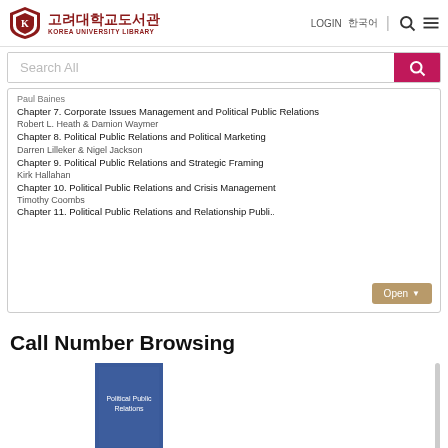Korea University Library | LOGIN 한국어
Search All
Paul Baines
Chapter 7. Corporate Issues Management and Political Public Relations
Robert L. Heath & Damion Waymer
Chapter 8. Political Public Relations and Political Marketing
Darren Lilleker & Nigel Jackson
Chapter 9. Political Public Relations and Strategic Framing
Kirk Hallahan
Chapter 10. Political Public Relations and Crisis Management
Timothy Coombs
Chapter 11. Political Public Relations and Relationship Public...
Call Number Browsing
[Figure (screenshot): Book cover thumbnail for Political Public Relations, blue cover with white text]